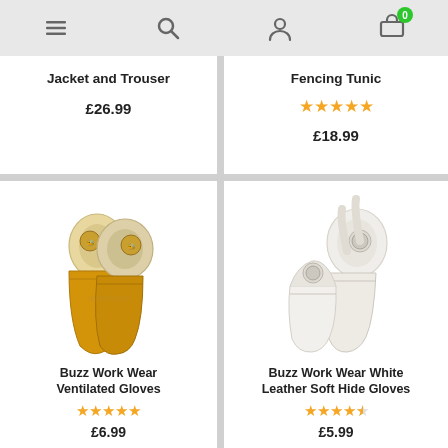Navigation bar with menu, search, account, and cart (0 items) icons
Jacket and Trouser
£26.99
Fencing Tunic
★★★★★
£18.99
[Figure (photo): Buzz Work Wear Ventilated Gloves - yellow/tan leather beekeeping gloves with long cuffs, crossed]
Buzz Work Wear Ventilated Gloves
★★★★★
£6.99
[Figure (photo): Buzz Work Wear White Leather Soft Hide Gloves - white beekeeping gloves with long white cuffs]
Buzz Work Wear White Leather Soft Hide Gloves
★★★★½
£5.99